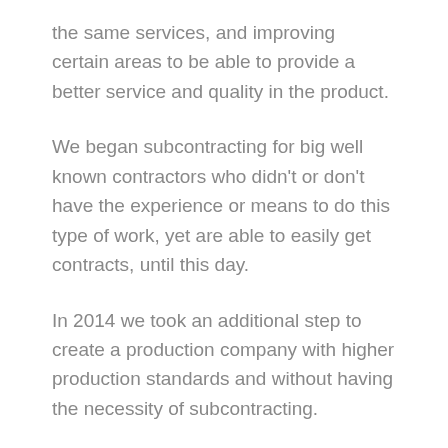the same services, and improving certain areas to be able to provide a better service and quality in the product.
We began subcontracting for big well known contractors who didn't or don't have the experience or means to do this type of work, yet are able to easily get contracts, until this day.
In 2014 we took an additional step to create a production company with higher production standards and without having the necessity of subcontracting.
We provide quality, efficiency and most importantly treat all animals with much care.